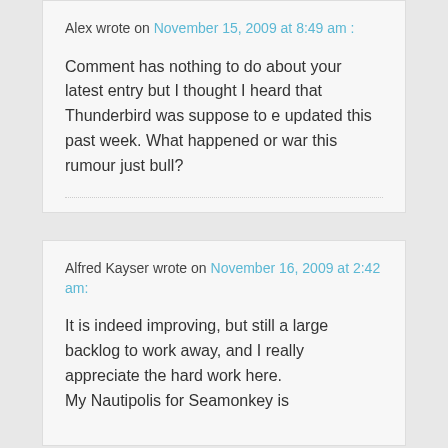Alex wrote on November 15, 2009 at 8:49 am :
Comment has nothing to do about your latest entry but I thought I heard that Thunderbird was suppose to e updated this past week. What happened or war this rumour just bull?
Alfred Kayser wrote on November 16, 2009 at 2:42 am:
It is indeed improving, but still a large backlog to work away, and I really appreciate the hard work here.
My Nautipolis for Seamonkey is